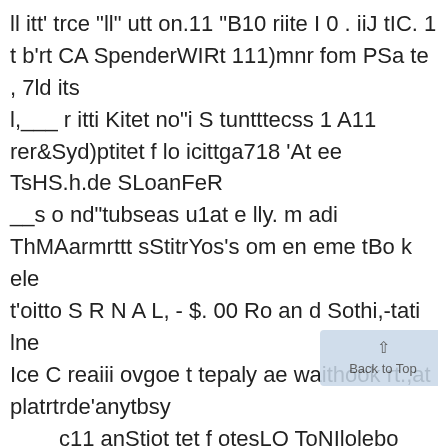ll itt' trce "ll" utt on.11 "B10 riite I 0 . iiJ tIC. 1 t b'rt CA SpenderWIRt 111)mnr fom PSa te , 7ld its
l,___ r itti Kitet no"i S tuntttecss 1 A11 rer&Syd)ptitet f lo icittga718 'At ee TsHS.h.de SLoanFeR
__s o nd"tubseas u1at e lly. m adi ThMAarmrttt sStitrYos's om en eme tBo k ele
t'oitto S R N A L, - $. 00 Ro an d Sothi,-tati lne
Ice C reaiii ovgoe t tepaly ae waithook rt.,at platrtrde'anytbsy
____c11 anStiot tet f otesLO ToNIlolebo